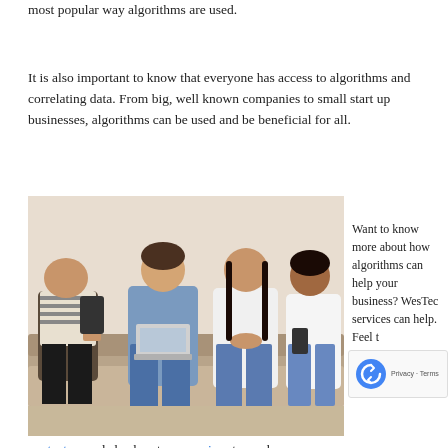most popular way algorithms are used.
It is also important to know that everyone has access to algorithms and correlating data. From big, well known companies to small start up businesses, algorithms can be used and be beneficial for all.
[Figure (photo): Four young people sitting on a couch using smartphones and a laptop]
Want to know more about how algorithms can help your business? WesTec services can help. Feel t
contact us and check out our services to see how we can